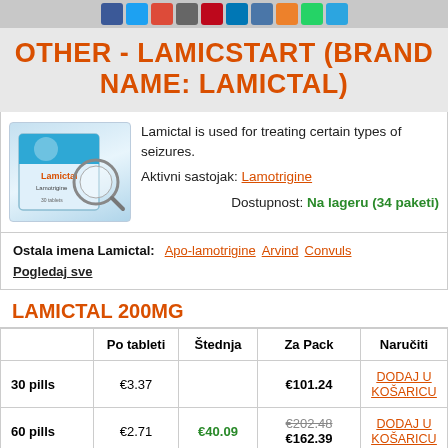Social media icons row
OTHER - LAMICSTART (BRAND NAME: LAMICTAL)
[Figure (photo): Box of Lamictal / Lamotrigine medication with a magnifying glass graphic on a blue and white package]
Lamictal is used for treating certain types of seizures.
Aktivni sastojak: Lamotrigine
Dostupnost: Na lageru (34 paketi)
Ostala imena Lamictal: Apo-lamotrigine  Arvind  Convuls  Pogledaj sve
LAMICTAL 200MG
|  | Po tableti | Štednja | Za Pack | Naručiti |
| --- | --- | --- | --- | --- |
| 30 pills | €3.37 |  | €101.24 | DODAJ U KOŠARICU |
| 60 pills | €2.71 | €40.09 | €202.48 €162.39 | DODAJ U KOŠARICU |